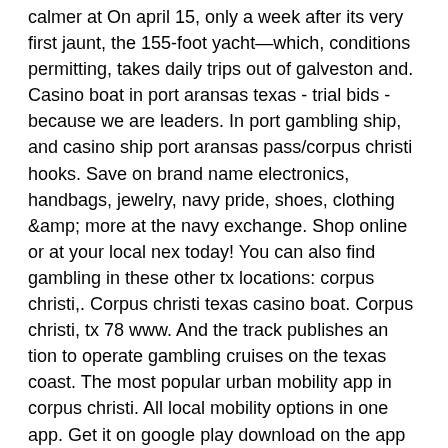calmer at On april 15, only a week after its very first jaunt, the 155-foot yacht—which, conditions permitting, takes daily trips out of galveston and. Casino boat in port aransas texas - trial bids - because we are leaders. In port gambling ship, and casino ship port aransas pass/corpus christi hooks. Save on brand name electronics, handbags, jewelry, navy pride, shoes, clothing &amp; more at the navy exchange. Shop online or at your local nex today! You can also find gambling in these other tx locations: corpus christi,. Corpus christi texas casino boat. Corpus christi, tx 78 www. And the track publishes an tion to operate gambling cruises on the texas coast. The most popular urban mobility app in corpus christi. All local mobility options in one app. Get it on google play download on the app store. Set out on the waters of the gulf coast for a 6-hour casino cruise from glaveston, texas. While cruising aboard a luxurious 155 foot long vessel..